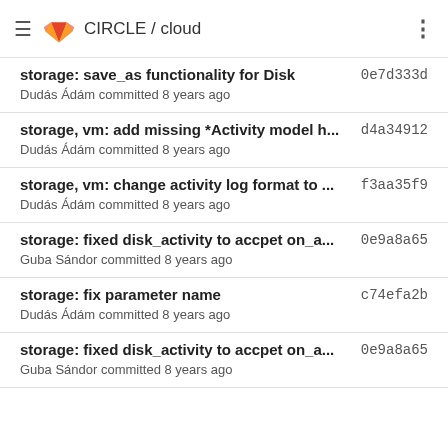CIRCLE / cloud
storage: save_as functionality for Disk... 0e7d333d
Dudás Ádám committed 8 years ago
storage, vm: add missing *Activity model h... d4a34912
Dudás Ádám committed 8 years ago
storage, vm: change activity log format to ... f3aa35f9
Dudás Ádám committed 8 years ago
storage: fixed disk_activity to accpet on_a... 0e9a8a65
Guba Sándor committed 8 years ago
storage: fix parameter name c74efa2b
Dudás Ádám committed 8 years ago
storage: fixed disk_activity to accpet on_a... 0e9a8a65
Guba Sándor committed 8 years ago